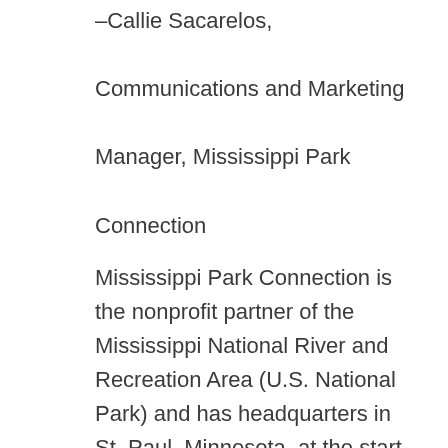–Callie Sacarelos, Communications and Marketing Manager, Mississippi Park Connection
Mississippi Park Connection is the nonprofit partner of the Mississippi National River and Recreation Area (U.S. National Park) and has headquarters in St. Paul, Minnesota, at the start of the river.
Jill B Gilbert is a graphic and web designer with years of experience creating impactful